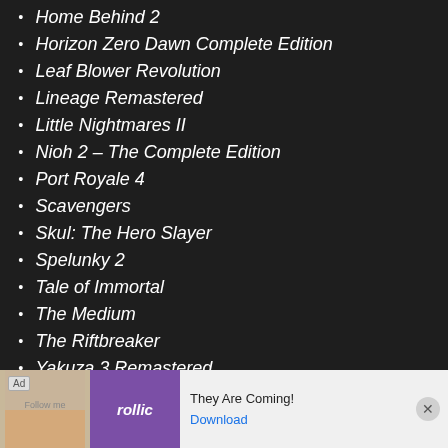Home Behind 2
Horizon Zero Dawn Complete Edition
Leaf Blower Revolution
Lineage Remastered
Little Nightmares II
Nioh 2 – The Complete Edition
Port Royale 4
Scavengers
Skul: The Hero Slayer
Spelunky 2
Tale of Immortal
The Medium
The Riftbreaker
Yakuza 3 Remastered
Yak... (partially visible)
[Figure (screenshot): Advertisement banner at the bottom of the screen showing a mobile game ad for 'They Are Coming!' by Rollic games with a Download button and close button.]